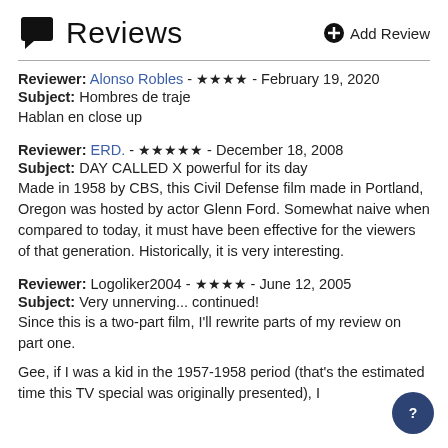Reviews  Add Review
Reviewer: Alonso Robles - ★★★★ - February 19, 2020
Subject: Hombres de traje
Hablan en close up
Reviewer: ERD. - ★★★★★ - December 18, 2008
Subject: DAY CALLED X powerful for its day
Made in 1958 by CBS, this Civil Defense film made in Portland, Oregon was hosted by actor Glenn Ford. Somewhat naive when compared to today, it must have been effective for the viewers of that generation. Historically, it is very interesting.
Reviewer: Logoliker2004 - ★★★★ - June 12, 2005
Subject: Very unnerving... continued!
Since this is a two-part film, I'll rewrite parts of my review on part one.

Gee, if I was a kid in the 1957-1958 period (that's the estimated time this TV special was originally presented), I